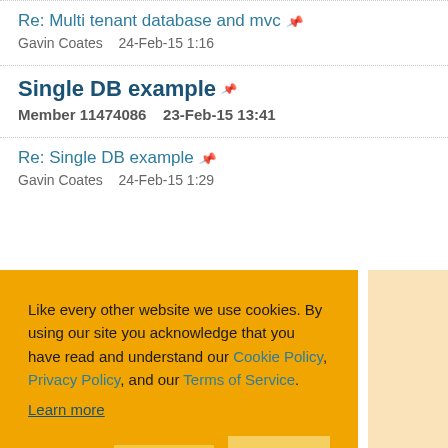Re: Multi tenant database and mvc — Gavin Coates 24-Feb-15 1:16
Single DB example — Member 11474086 23-Feb-15 13:41
Re: Single DB example — Gavin Coates 24-Feb-15 1:29
Like every other website we use cookies. By using our site you acknowledge that you have read and understand our Cookie Policy, Privacy Policy, and our Terms of Service. Learn more
Ask me later  Decline  Allow cookies